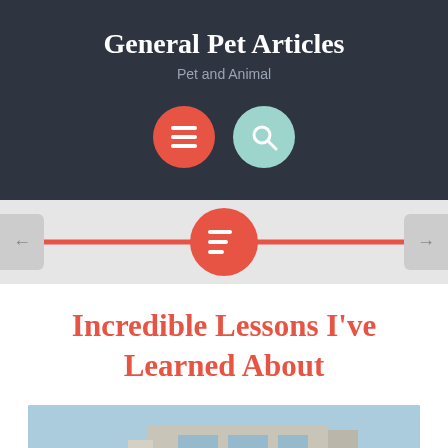General Pet Articles
Pet and Animal
[Figure (screenshot): Two circular icon buttons: a red circle with a hamburger menu icon and a teal circle with a search/magnifying glass icon]
[Figure (screenshot): Navigation band with red horizontal line, red circle with list/menu icon in center, left arrow button and right arrow button on sides]
Incredible Lessons I've Learned About
[Figure (photo): Photo of a building exterior with blue sky, glass windows and architectural details visible at the bottom of the page]